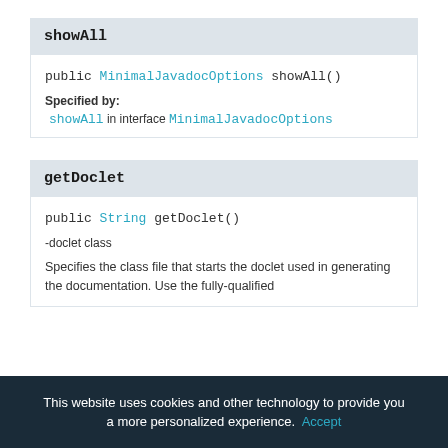showAll
public MinimalJavadocOptions showAll()
Specified by:
showAll in interface MinimalJavadocOptions
getDoclet
public String getDoclet()
-doclet class
Specifies the class file that starts the doclet used in generating the documentation. Use the fully-qualified
This website uses cookies and other technology to provide you a more personalized experience. Accept